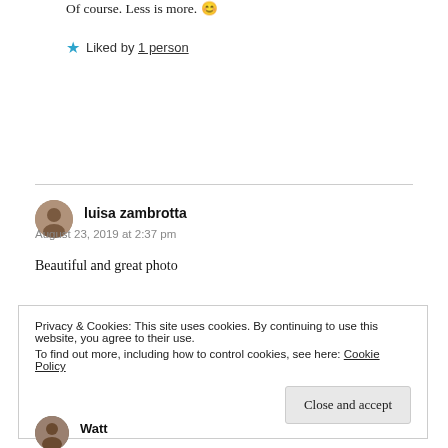Of course. Less is more. 😊
★ Liked by 1 person
luisa zambrotta
August 23, 2019 at 2:37 pm
Beautiful and great photo
Privacy & Cookies: This site uses cookies. By continuing to use this website, you agree to their use. To find out more, including how to control cookies, see here: Cookie Policy
Watt
Close and accept